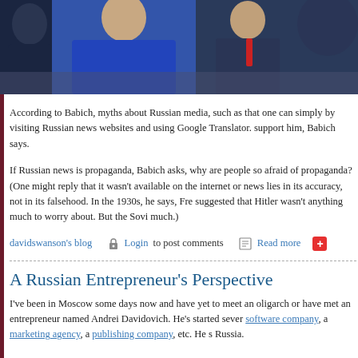[Figure (photo): Group of people photographed, partially cropped at top of page, blue and dark tones]
According to Babich, myths about Russian media, such as that one can simply by visiting Russian news websites and using Google Translator. support him, Babich says.
If Russian news is propaganda, Babich asks, why are people so afraid of propaganda? (One might reply that it wasn't available on the internet or news lies in its accuracy, not in its falsehood. In the 1930s, he says, French suggested that Hitler wasn't anything much to worry about. But the Soviet much.)
davidswanson's blog   Login to post comments   Read more
A Russian Entrepreneur's Perspective
I've been in Moscow some days now and have yet to meet an oligarch or have met an entrepreneur named Andrei Davidovich. He's started several software company, a marketing agency, a publishing company, etc. He's Russia.